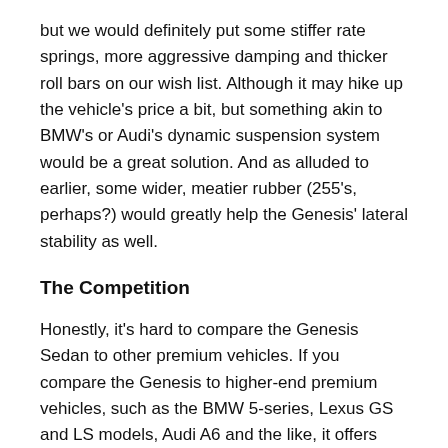but we would definitely put some stiffer rate springs, more aggressive damping and thicker roll bars on our wish list. Although it may hike up the vehicle's price a bit, but something akin to BMW's or Audi's dynamic suspension system would be a great solution. And as alluded to earlier, some wider, meatier rubber (255's, perhaps?) would greatly help the Genesis' lateral stability as well.
The Competition
Honestly, it's hard to compare the Genesis Sedan to other premium vehicles. If you compare the Genesis to higher-end premium vehicles, such as the BMW 5-series, Lexus GS and LS models, Audi A6 and the like, it offers similar levels of refinement, features and performance for a lot less money. If you compare the Genesis on a pricepoint basis, it's a complete blow-out as entry-level